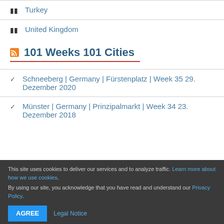Turkey
United Kingdom
101 Weeks 101 Cities
Schneeberg | Germany | Fürstenplatz | Week 35 29. Dezember 2020
Münster | Germany | Prinzipalmarkt | Week 34 23. Dezember 2018
This site uses cookies to deliver our services and to analyze traffic. Learn more about how we use cookies. By using our site, you acknowledge that you have read and understand our Privacy Policy. AGREE Legal Notice